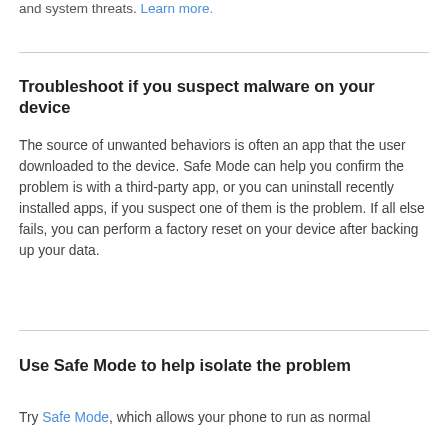and system threats. Learn more.
Troubleshoot if you suspect malware on your device
The source of unwanted behaviors is often an app that the user downloaded to the device. Safe Mode can help you confirm the problem is with a third-party app, or you can uninstall recently installed apps, if you suspect one of them is the problem. If all else fails, you can perform a factory reset on your device after backing up your data.
Use Safe Mode to help isolate the problem
Try Safe Mode, which allows your phone to run as normal